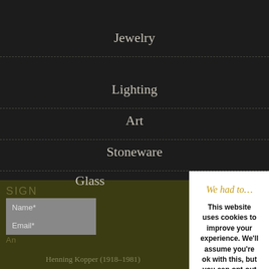Jewelry
Lighting
Art
Stoneware
Glass
SIGN
Name*
Email*
An
Henning Kopper (1918-1981)
We had to…
This website uses cookies to improve your experience. We'll assume you're ok with this, but you can opt-out if you wish. Cookie settings ACCEPT